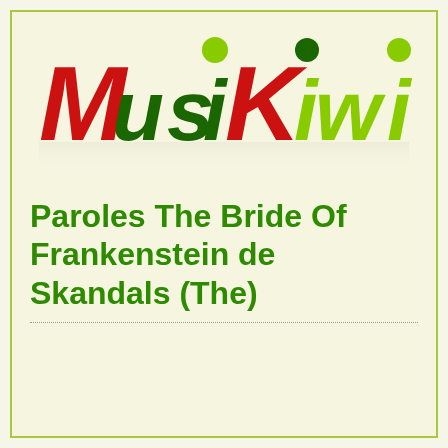[Figure (logo): MusiKiwi logo with colorful cartoon letters - red and dark green large letters with lime green smaller letters, on a light yellow background]
Paroles The Bride Of Frankenstein de Skandals (The)